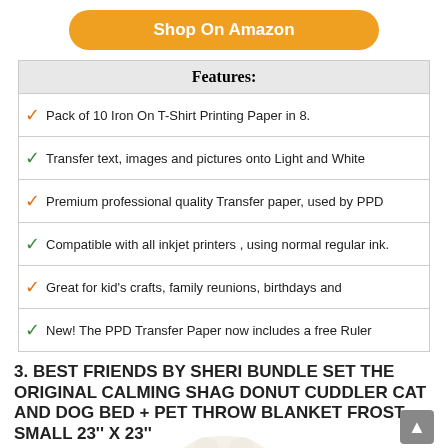[Figure (other): Orange rounded button labeled 'Shop On Amazon']
Features:
Pack of 10 Iron On T-Shirt Printing Paper in 8.
Transfer text, images and pictures onto Light and White
Premium professional quality Transfer paper, used by PPD
Compatible with all inkjet printers , using normal regular ink.
Great for kid's crafts, family reunions, birthdays and
New! The PPD Transfer Paper now includes a free Ruler
3. BEST FRIENDS BY SHERI BUNDLE SET THE ORIGINAL CALMING SHAG DONUT CUDDLER CAT AND DOG BED + PET THROW BLANKET FROST SMALL 23'' X 23''
[Figure (photo): Partial product image at bottom of page]